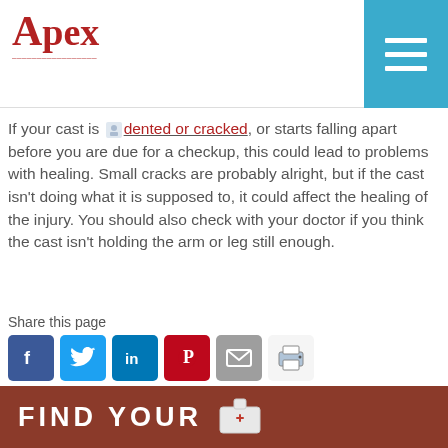Apex
If your cast is dented or cracked, or starts falling apart before you are due for a checkup, this could lead to problems with healing. Small cracks are probably alright, but if the cast isn't doing what it is supposed to, it could affect the healing of the injury. You should also check with your doctor if you think the cast isn't holding the arm or leg still enough.
Share this page
[Figure (other): Social sharing icons: Facebook, Twitter, LinkedIn, Pinterest, Email, Print]
[Figure (other): Bottom banner: FIND YOUR with first aid kit icon, brown background]